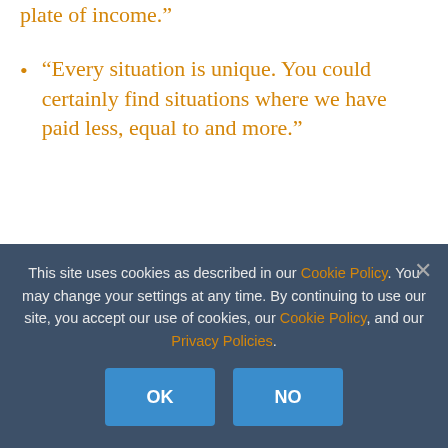“Every situation is unique. You could certainly find situations where we have paid less, equal to and more.”
“We tell them what the value of the package is, then we ask them how they want it broken up.”
Marijuana Business Magazine’s cover
This site uses cookies as described in our Cookie Policy. You may change your settings at any time. By continuing to use our site, you accept our use of cookies, our Cookie Policy, and our Privacy Policies.
OK NO